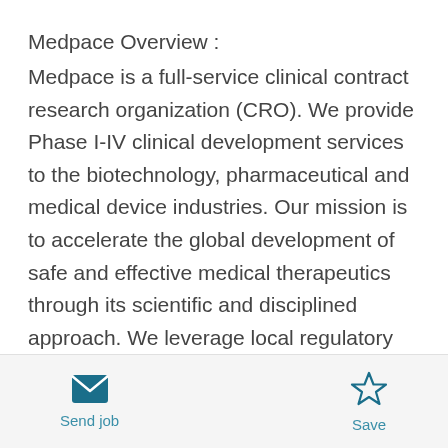Medpace Overview :
Medpace is a full-service clinical contract research organization (CRO). We provide Phase I-IV clinical development services to the biotechnology, pharmaceutical and medical device industries. Our mission is to accelerate the global development of safe and effective medical therapeutics through its scientific and disciplined approach. We leverage local regulatory and therapeutic expertise across all major areas including oncology, cardiology, metabolic disease, endocrinology, central nervous system, anti-viral and anti-infective. Headquartered in Cincinnati
Send job   Save